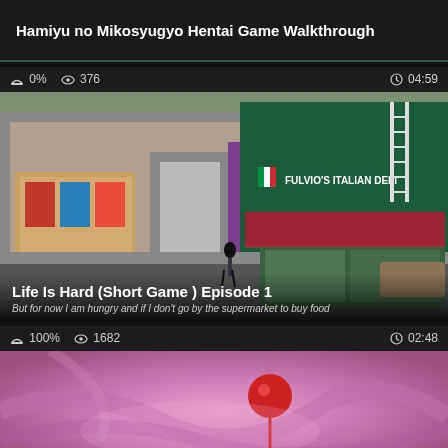Hamiyu no Mikosyugyo Hentai Game Walkthrough
0% 376 04:59
[Figure (screenshot): Video thumbnail showing a 3D rendered street scene with a character walking past shops including Fulvio's Italian store with red awning]
Life Is Hard (Short Game ) Episode 1
But for now I am hungry and if I don't go by the supermarket to buy food
100% 1682 02:48
[Figure (screenshot): Video thumbnail showing a pink/purple soft fabric or cloth with a red round object, close-up soft-focus image]